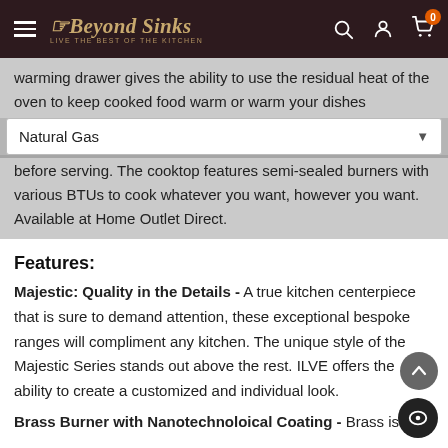Beyond Sinks | 0
warming drawer gives the ability to use the residual heat of the oven to keep cooked food warm or warm your dishes before serving. The cooktop features semi-sealed burners with various BTUs to cook whatever you want, however you want. Available at Home Outlet Direct.
Sold Out
Natural Gas
Features:
Majestic: Quality in the Details - A true kitchen centerpiece that is sure to demand attention, these exceptional bespoke ranges will compliment any kitchen. The unique style of the Majestic Series stands out above the rest. ILVE offers the ability to create a customized and individual look.
Brass Burner with Nanotechnoloical Coating - Brass is a